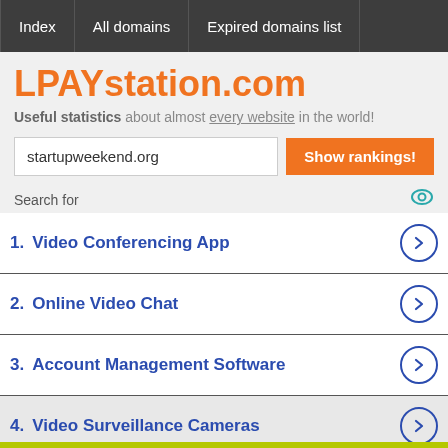Index | All domains | Expired domains list
LPAYstation.com
Useful statistics about almost every website in the world!
startupweekend.org
Search for
1.  Video Conferencing App
2.  Online Video Chat
3.  Account Management Software
4.  Video Surveillance Cameras
Search for
1.  Free Web Site